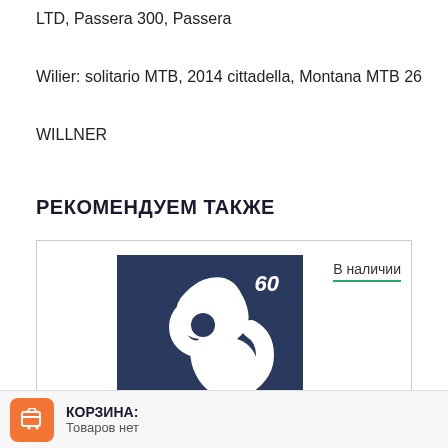LTD, Passera 300, Passera
Wilier: solitario MTB, 2014 cittadella, Montana MTB 26
WILLNER
РЕКОМЕНДУЕМ ТАКЖЕ
[Figure (photo): Product card showing a white curved bicycle part (cable stopper/guide) on a dark navy blue background, with number 60 in white italic text in the top right corner. An 'В наличии' (In stock) label appears to the right.]
В наличии
КОРЗИНА: Товаров нет